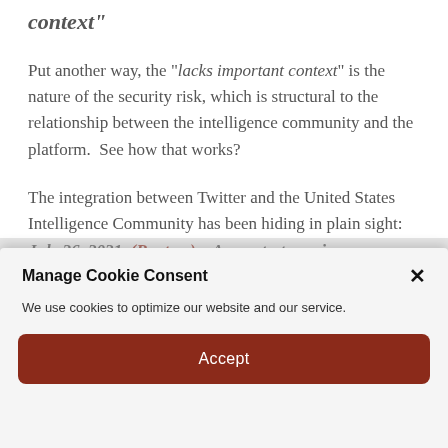context"
Put another way, the "lacks important context" is the nature of the security risk, which is structural to the relationship between the intelligence community and the platform.  See how that works?
The integration between Twitter and the United States Intelligence Community has been hiding in plain sight:
July 26, 2021, (Reuters) – A counterterrorism organization formed by some of the biggest U.S. tech companies including Facebook (FB.O) and Microsoft (MSFT.O) is
Manage Cookie Consent
We use cookies to optimize our website and our service.
Accept